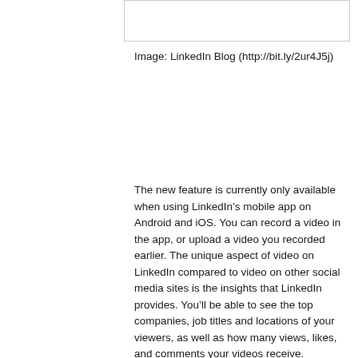[Figure (other): Empty white image placeholder box with border]
Image: LinkedIn Blog (http://bit.ly/2ur4J5j)
The new feature is currently only available when using LinkedIn’s mobile app on Android and iOS. You can record a video in the app, or upload a video you recorded earlier. The unique aspect of video on LinkedIn compared to video on other social media sites is the insights that LinkedIn provides. You’ll be able to see the top companies, job titles and locations of your viewers, as well as how many views, likes, and comments your videos receive.  Audience insights can be viewed on the mobile and desktop